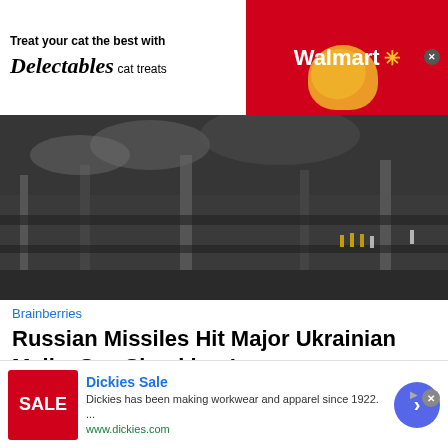[Figure (photo): Walmart advertisement banner: 'Treat your cat the best with Delectables cat treats' with cat photo and yellow heart, Walmart logo on red background]
[Figure (photo): News article photo showing aftermath of missile strike on Ukrainian mall — charred ruins, smoke, emergency workers in hi-viz vests]
Brainberries
Russian Missiles Hit Major Ukrainian Malls, See Shocking Images
[Figure (photo): Elderly man with white hair holding his hand to his forehead in a distressed pose, blurred blue/grey background]
[Figure (screenshot): Dickies Sale advertisement: 'Dickies has been making workwear and apparel since 1922.' with red SALE box and www.dickies.com link, blue arrow button]